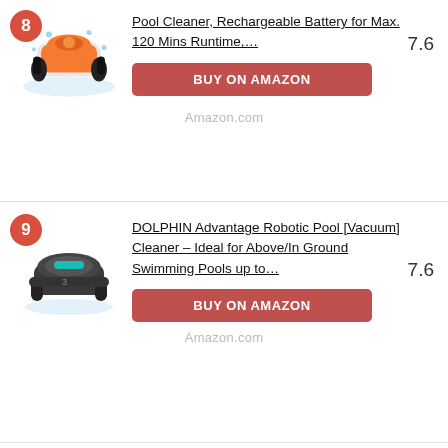8 - Pool Cleaner, Rechargeable Battery for Max. 120 Mins Runtime,… — Score: 7.6
BUY ON AMAZON
Amazon.com
9 - DOLPHIN Advantage Robotic Pool [Vacuum] Cleaner – Ideal for Above/In Ground Swimming Pools up to… — Score: 7.6
BUY ON AMAZON
Amazon.com